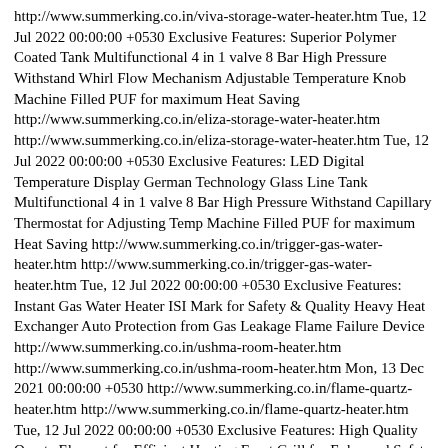http://www.summerking.co.in/viva-storage-water-heater.htm Tue, 12 Jul 2022 00:00:00 +0530 Exclusive Features: Superior Polymer Coated Tank Multifunctional 4 in 1 valve 8 Bar High Pressure Withstand Whirl Flow Mechanism Adjustable Temperature Knob Machine Filled PUF for maximum Heat Saving http://www.summerking.co.in/eliza-storage-water-heater.htm http://www.summerking.co.in/eliza-storage-water-heater.htm Tue, 12 Jul 2022 00:00:00 +0530 Exclusive Features: LED Digital Temperature Display German Technology Glass Line Tank Multifunctional 4 in 1 valve 8 Bar High Pressure Withstand Capillary Thermostat for Adjusting Temp Machine Filled PUF for maximum Heat Saving http://www.summerking.co.in/trigger-gas-water-heater.htm http://www.summerking.co.in/trigger-gas-water-heater.htm Tue, 12 Jul 2022 00:00:00 +0530 Exclusive Features: Instant Gas Water Heater ISI Mark for Safety & Quality Heavy Heat Exchanger Auto Protection from Gas Leakage Flame Failure Device http://www.summerking.co.in/ushma-room-heater.htm http://www.summerking.co.in/ushma-room-heater.htm Mon, 13 Dec 2021 00:00:00 +0530 http://www.summerking.co.in/flame-quartz-heater.htm http://www.summerking.co.in/flame-quartz-heater.htm Tue, 12 Jul 2022 00:00:00 +0530 Exclusive Features: High Quality Quartz Element for Efficient Heating Front Grill for Enhanced Safety Two Heat Settings to maintain desired room temp Smart Carry Handles on Both Sides for easy portablilty Automatic Power off in case of tip over for safety